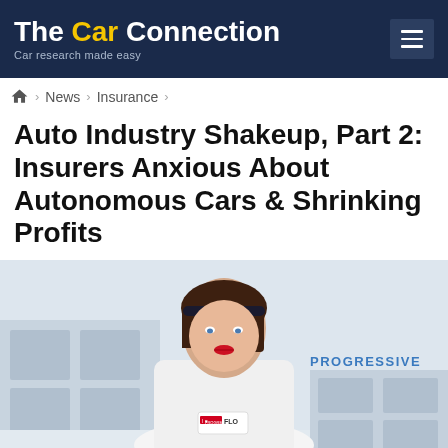The Car Connection — Car research made easy
Home > News > Insurance
Auto Industry Shakeup, Part 2: Insurers Anxious About Autonomous Cars & Shrinking Profits
[Figure (photo): Woman in white uniform ("Flo" from Progressive Insurance commercials) standing in a white store setting with Progressive logo visible in background.]